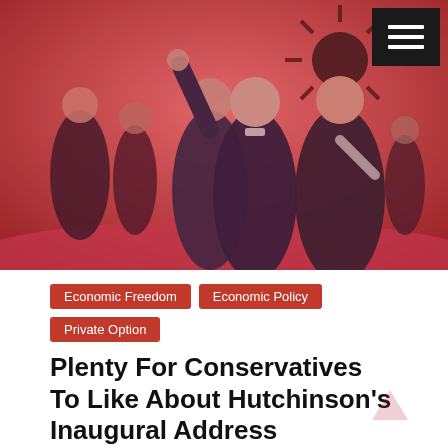[Figure (photo): Photo of a man in a tuxedo waving to a crowd with a woman in a black dress beside him, at a formal event with red lighting and other attendees in evening wear.]
Economic Freedom
Economic Policy
Private Option
Plenty For Conservatives To Like About Hutchinson's Inaugural Address
January 14, 2015   Caleb Taylor   0 Comments   asa